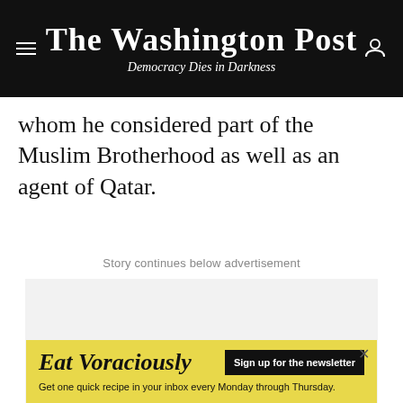The Washington Post — Democracy Dies in Darkness
whom he considered part of the Muslim Brotherhood as well as an agent of Qatar.
Story continues below advertisement
[Figure (other): Advertisement placeholder area (gray box)]
[Figure (other): Eat Voraciously newsletter advertisement banner with yellow background. Text: 'Eat Voraciously — Sign up for the newsletter — Get one quick recipe in your inbox every Monday through Thursday.']